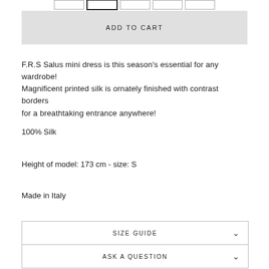[Figure (screenshot): Size selector strip showing multiple size option boxes at the top of the page]
ADD TO CART
F.R.S Salus mini dress is this season's essential for any wardrobe! Magnificent printed silk is ornately finished with contrast borders for a breathtaking entrance anywhere!
100% Silk
Height of model: 173 cm - size: S
Made in Italy
SIZE GUIDE
ASK A QUESTION